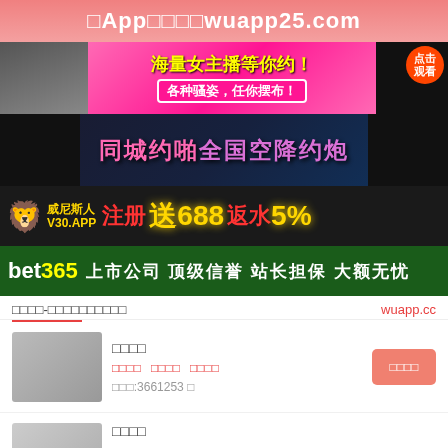□App□□□□wuapp25.com
[Figure (photo): Adult advertisement banner with female streamer promotion text in Chinese]
[Figure (photo): Adult dating advertisement banner with Chinese text]
[Figure (photo): Venetian casino V30.APP advertisement: register get 688, 5% rebate]
[Figure (photo): bet365 advertisement: listed company top reputation]
□□□□-□□□□□□□□□□
wuapp.cc
□□□□
□□□□ □□□□ □□□□
□□□:3661253 □
□□□□
□□□□